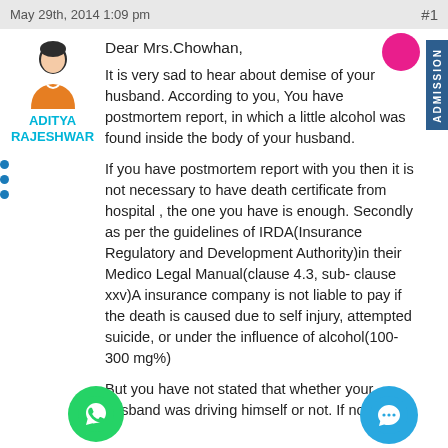May 29th, 2014 1:09 pm   #1
ADITYA RAJESHWAR
Dear Mrs.Chowhan,

It is very sad to hear about demise of your husband. According to you, You have postmortem report, in which a little alcohol was found inside the body of your husband.

If you have postmortem report with you then it is not necessary to have death certificate from hospital , the one you have is enough. Secondly as per the guidelines of IRDA(Insurance Regulatory and Development Authority)in their Medico Legal Manual(clause 4.3, sub- clause xxv)A insurance company is not liable to pay if the death is caused due to self injury, attempted suicide, or under the influence of alcohol(100-300 mg%)

But you have not stated that whether your husband was driving himself or not. If not then